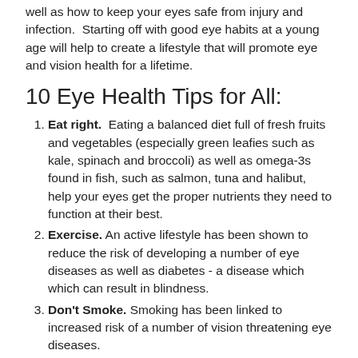well as how to keep your eyes safe from injury and infection.  Starting off with good eye habits at a young age will help to create a lifestyle that will promote eye and vision health for a lifetime.
10 Eye Health Tips for All:
Eat right.  Eating a balanced diet full of fresh fruits and vegetables (especially green leafies such as kale, spinach and broccoli) as well as omega-3s found in fish, such as salmon, tuna and halibut, help your eyes get the proper nutrients they need to function at their best.
Exercise. An active lifestyle has been shown to reduce the risk of developing a number of eye diseases as well as diabetes - a disease which which can result in blindness.
Don't Smoke. Smoking has been linked to increased risk of a number of vision threatening eye diseases.
Use Eye Protection. Protect your eyes when engaging in activities such as sports (especially